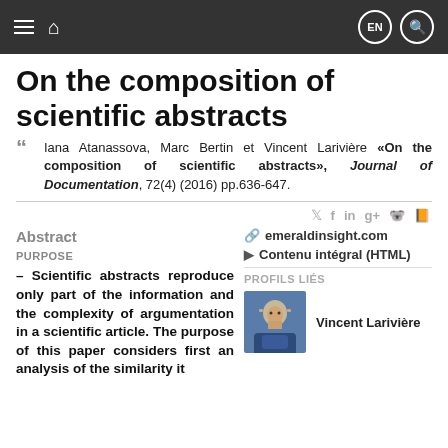Navigation bar with menu, home, EN and search icons
On the composition of scientific abstracts
Iana Atanassova, Marc Bertin et Vincent Larivière «On the composition of scientific abstracts», Journal of Documentation, 72(4) (2016) pp.636-647.
Abstract
PURPOSE
– Scientific abstracts reproduce only part of the information and the complexity of argumentation in a scientific article. The purpose of this paper considers first an analysis of the similarity...
emeraldinsight.com
Contenu intégral (HTML)
PROFILS LIÉS
[Figure (photo): Profile photo of Vincent Larivière]
Vincent Larivière